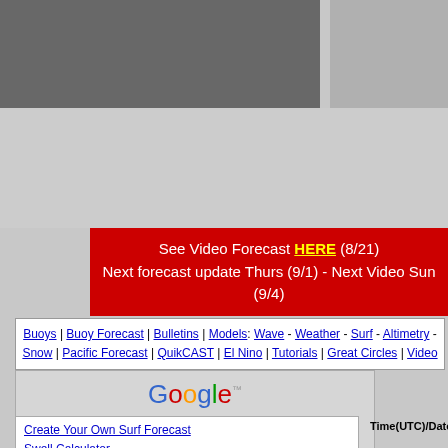[Figure (screenshot): Website header banner with dark gray left section and lighter gray right section (placeholder/image areas)]
See Video Forecast HERE (8/21)
Next forecast update Thurs (9/1) - Next Video Sun (9/4)
Buoys | Buoy Forecast | Bulletins | Models: Wave - Weather - Surf - Altimetry - Snow | Pacific Forecast | QuikCAST | El Nino | Tutorials | Great Circles | Video
[Figure (screenshot): Google search widget with text input and Search button]
Create Your Own Surf Forecast
Swell Calculator
Swell Decay Tables
Time(UTC)/Date  Surf